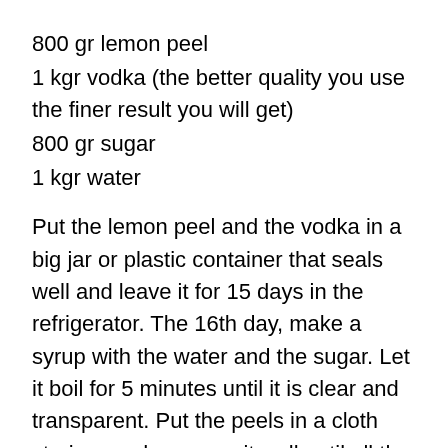800 gr lemon peel
1 kgr vodka (the better quality you use the finer result you will get)
800 gr sugar
1 kgr water
Put the lemon peel and the vodka in a big jar or plastic container that seals well and leave it for 15 days in the refrigerator. The 16th day, make a syrup with the water and the sugar. Let it boil for 5 minutes until it is clear and transparent. Put the peels in a cloth strainer and squeeze it well until all the liquid is strained in the jar. Then throw the peels away. When the syrup is cold mix it with the lemon-vodka. Strain again the liqueur and put it in bottles. Put the bottles in the refrigerator and leave them for 5 hours. You can stor the liqueur in the freezer, or in a cupboard.